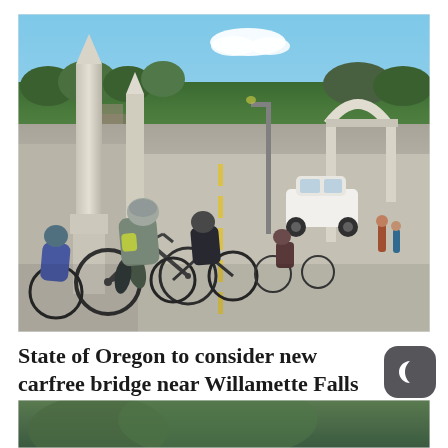[Figure (photo): Cyclists riding across a bridge in Oregon City, with stone pillars, a bascule arch structure visible at right, a white car in the far lane, trees and blue sky in the background.]
State of Oregon to consider new carfree bridge near Willamette Falls in Oregon City
[Figure (photo): Partial view of a second photo, showing green landscape or terrain, cropped at bottom of page.]